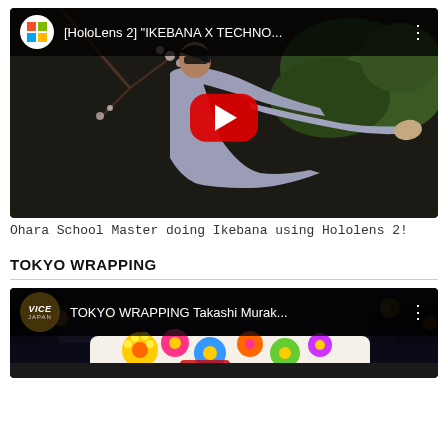[Figure (screenshot): YouTube video thumbnail: [HoloLens 2] IKEBANA X TECHNO... showing a person in gray kimono doing ikebana with plants in background, with YouTube play button overlay and Microsoft logo in top bar]
Ohara School Master doing Ikebana using Hololens 2!
TOKYO WRAPPING
[Figure (screenshot): YouTube video thumbnail: TOKYO WRAPPING Takashi Murak... showing colorful Takashi Murakami flower-wrapped car at night, with VICE Japan logo in top bar]